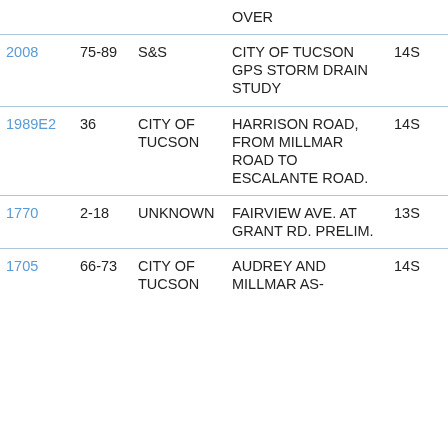| ID | Num | Client | Description | Zone |  |
| --- | --- | --- | --- | --- | --- |
|  |  |  | OVER |  |  |
| 2008 | 75-89 | S&S | CITY OF TUCSON GPS STORM DRAIN STUDY | 14S |  |
| 1989E2 | 36 | CITY OF TUCSON | HARRISON ROAD, FROM MILLMAR ROAD TO ESCALANTE ROAD. | 14S |  |
| 1770 | 2-18 | UNKNOWN | FAIRVIEW AVE. AT GRANT RD. PRELIM. | 13S |  |
| 1705 | 66-73 | CITY OF TUCSON | AUDREY AND MILLMAR AS- | 14S |  |